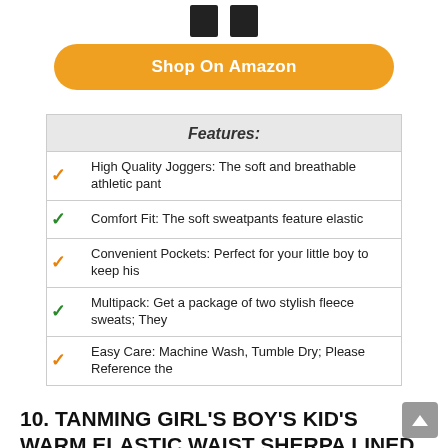[Figure (illustration): Two small dark sweatpants/jogger icons at the top of the page]
Shop On Amazon
| Features: |
| --- |
| ✓ High Quality Joggers: The soft and breathable athletic pant |
| ✓ Comfort Fit: The soft sweatpants feature elastic |
| ✓ Convenient Pockets: Perfect for your little boy to keep his |
| ✓ Multipack: Get a package of two stylish fleece sweats; They |
| ✓ Easy Care: Machine Wash, Tumble Dry; Please Reference the |
10. TANMING GIRL'S BOY'S KID'S WARM ELASTIC WAIST SHERPA LINED UNISEX JOGGER SWEATPANTS (DARKGREY-3T)
[Figure (photo): Photo of dark grey children's jogger sweatpants]